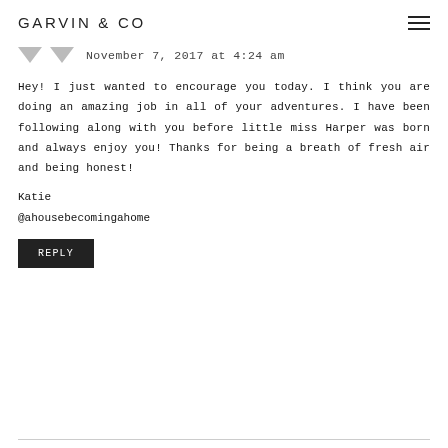GARVIN & CO
November 7, 2017 at 4:24 am
Hey! I just wanted to encourage you today. I think you are doing an amazing job in all of your adventures. I have been following along with you before little miss Harper was born and always enjoy you! Thanks for being a breath of fresh air and being honest!
Katie
@ahousebecomingahome
REPLY